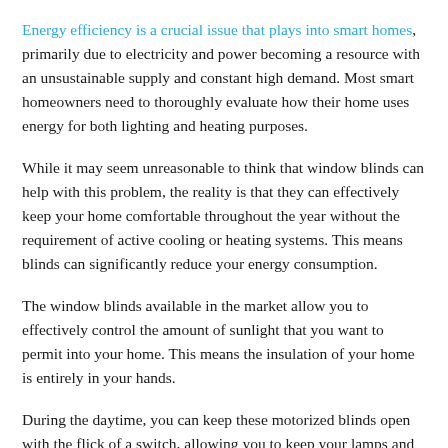Energy efficiency is a crucial issue that plays into smart homes, primarily due to electricity and power becoming a resource with an unsustainable supply and constant high demand. Most smart homeowners need to thoroughly evaluate how their home uses energy for both lighting and heating purposes.
While it may seem unreasonable to think that window blinds can help with this problem, the reality is that they can effectively keep your home comfortable throughout the year without the requirement of active cooling or heating systems. This means blinds can significantly reduce your energy consumption.
The window blinds available in the market allow you to effectively control the amount of sunlight that you want to permit into your home. This means the insulation of your home is entirely in your hands.
During the daytime, you can keep these motorized blinds open with the flick of a switch, allowing you to keep your lamps and lights switched off and not require the constant use of the heating...